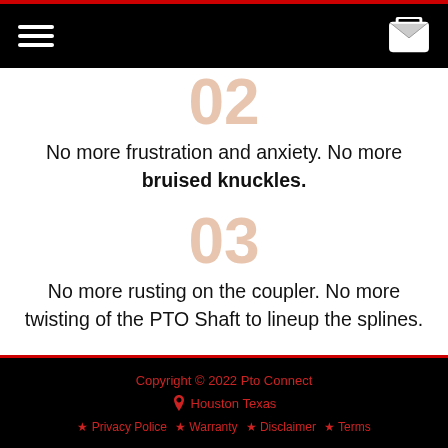[Navigation bar with hamburger menu and email icon]
02
No more frustration and anxiety. No more bruised knuckles.
03
No more rusting on the coupler. No more twisting of the PTO Shaft to lineup the splines.
Copyright © 2022 Pto Connect | Houston Texas | Privacy Police | Warranty | Disclaimer | Terms